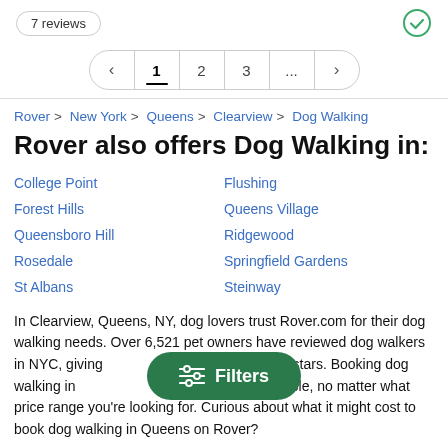7 reviews
[Figure (screenshot): Pagination control showing pages: < 1 2 3 ... >]
Rover > New York > Queens > Clearview > Dog Walking
Rover also offers Dog Walking in:
College Point
Forest Hills
Queensboro Hill
Rosedale
St Albans
Flushing
Queens Village
Ridgewood
Springfield Gardens
Steinway
In Clearview, Queens, NY, dog lovers trust Rover.com for their dog walking needs. Over 6,521 pet owners have reviewed dog walkers in NYC, giving [Filters button overlaps] ing of 4.9/5 stars. Booking dog walking in [Filters button overlaps] incredibly affordable, no matter what price range you're looking for. Curious about what it might cost to book dog walking in Queens on Rover?